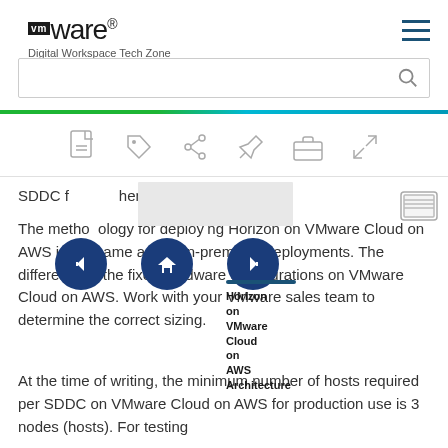VMware Digital Workspace Tech Zone
[Figure (screenshot): VMware Digital Workspace Tech Zone website header with logo, hamburger menu, search bar, color gradient bar, and toolbar icons (PDF, tag, share, pin, briefcase, expand)]
SDDC f [redacted] hem.
The methodology for deploying Horizon on VMware Cloud on AWS is the same as for on-premises deployments. The difference is the fixed hardware configurations on VMware Cloud on AWS. Work with your VMware sales team to determine the correct sizing.
At the time of writing, the minimum number of hosts required per SDDC on VMware Cloud on AWS for production use is 3 nodes (hosts). For testing